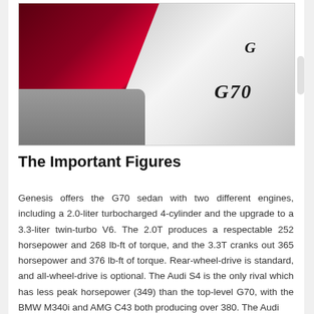[Figure (photo): Close-up rear view of a white Genesis G70 sedan showing the G70 badge and Genesis G logo on the trunk lid, with a red taillight visible on the left side and asphalt ground at the bottom left.]
The Important Figures
Genesis offers the G70 sedan with two different engines, including a 2.0-liter turbocharged 4-cylinder and the upgrade to a 3.3-liter twin-turbo V6. The 2.0T produces a respectable 252 horsepower and 268 lb-ft of torque, and the 3.3T cranks out 365 horsepower and 376 lb-ft of torque. Rear-wheel-drive is standard, and all-wheel-drive is optional. The Audi S4 is the only rival which has less peak horsepower (349) than the top-level G70, with the BMW M340i and AMG C43 both producing over 380. The Audi